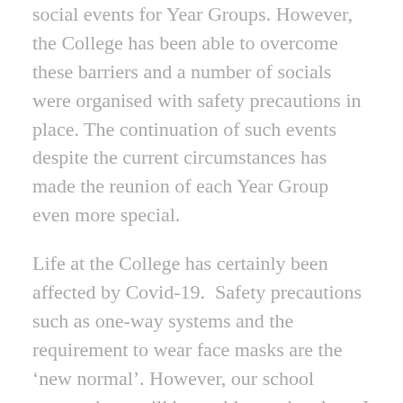social events for Year Groups. However, the College has been able to overcome these barriers and a number of socials were organised with safety precautions in place. The continuation of such events despite the current circumstances has made the reunion of each Year Group even more special.
Life at the College has certainly been affected by Covid-19.  Safety precautions such as one-way systems and the requirement to wear face masks are the ‘new normal’. However, our school retreats have still been able to take place. I feel relieved that younger students can participate in a similar spiritual experience, even if the retreats are in a different format.
With the loss of regular assemblies and masses